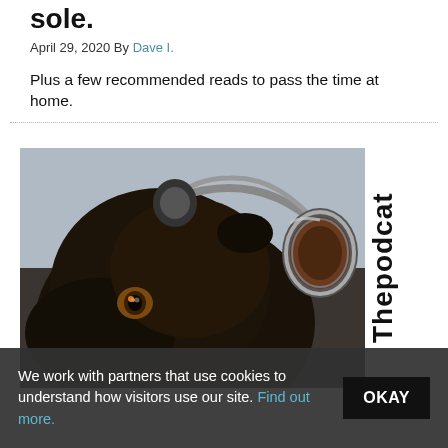sole.
April 29, 2020 By Dave I.
Plus a few recommended reads to pass the time at home.
[Figure (photo): A close-up photograph of a dark-colored dog wearing large over-ear headphones, looking at the camera with an amber eye.]
Thepodcat
We work with partners that use cookies to understand how visitors use our site. Find out more.